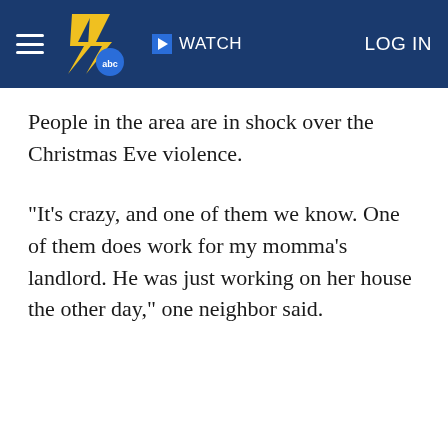WATCH   LOG IN
People in the area are in shock over the Christmas Eve violence.
"It's crazy, and one of them we know. One of them does work for my momma's landlord. He was just working on her house the other day," one neighbor said.